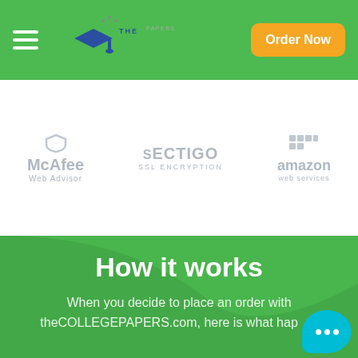The College Papers — navigation header with hamburger menu, logo, and Order Now button
[Figure (logo): TheCollegePapers logo with graduation cap icon and stylized text in blue and green]
[Figure (logo): McAfee Web Advisor trust badge in gray]
[Figure (logo): Sectigo SSL Encryption trust badge in gray]
[Figure (logo): Amazon Web Services trust badge in gray]
How it works
When you decide to place an order with theCOLLEGEPAPERS.com, here is what happ…